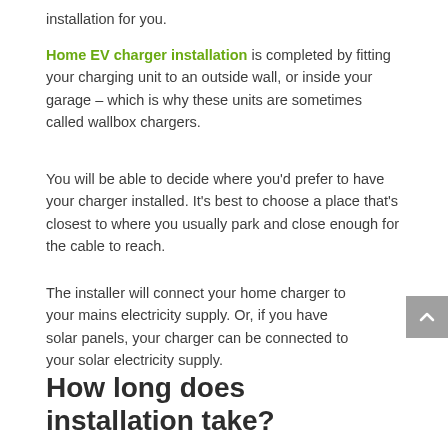installation for you.
Home EV charger installation is completed by fitting your charging unit to an outside wall, or inside your garage – which is why these units are sometimes called wallbox chargers.
You will be able to decide where you'd prefer to have your charger installed. It's best to choose a place that's closest to where you usually park and close enough for the cable to reach.
The installer will connect your home charger to your mains electricity supply. Or, if you have solar panels, your charger can be connected to your solar electricity supply.
How long does installation take?